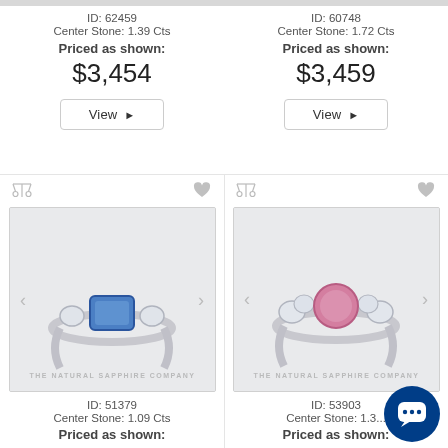ID: 62459
Center Stone: 1.39 Cts
Priced as shown:
$3,454
View ▶
ID: 60748
Center Stone: 1.72 Cts
Priced as shown:
$3,459
View ▶
[Figure (photo): Ring with blue sapphire center stone, three-stone setting with diamond side stones, white gold band, The Natural Sapphire Company watermark]
ID: 51379
Center Stone: 1.09 Cts
Priced as shown:
[Figure (photo): Ring with pink/purple round sapphire center stone, cluster diamond side stones, white gold band, The Natural Sapphire Company watermark]
ID: 53903
Center Stone: 1.3...
Priced as shown: